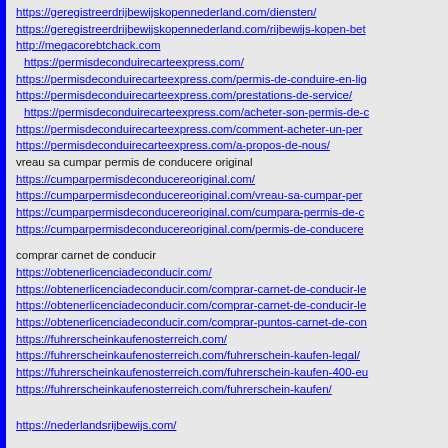https://geregistreerdrijbewijskopennederland.com/diensten/
https://geregistreerdrijbewijskopennederland.com/rijbewijs-kopen-bet
http://megacorebtchack.com
https://permisdeconduirecarteexpress.com/
https://permisdeconduirecarteexpress.com/permis-de-conduire-en-lig
https://permisdeconduirecarteexpress.com/prestations-de-service/
https://permisdeconduirecarteexpress.com/acheter-son-permis-de-c
https://permisdeconduirecarteexpress.com/comment-acheter-un-per
https://permisdeconduirecarteexpress.com/a-propos-de-nous/
vreau sa cumpar permis de conducere original
https://cumparpermisdeconducereoriginal.com/
https://cumparpermisdeconducereoriginal.com/vreau-sa-cumpar-per
https://cumparpermisdeconducereoriginal.com/cumpara-permis-de-c
https://cumparpermisdeconducereoriginal.com/permis-de-conducere
comprar carnet de conducir
https://obtenerlicenciadeconducir.com/
https://obtenerlicenciadeconducir.com/comprar-carnet-de-conducir-le
https://obtenerlicenciadeconducir.com/comprar-carnet-de-conducir-le
https://obtenerlicenciadeconducir.com/comprar-puntos-carnet-de-con
https://fuhrerscheinkaufenosterreich.com/
https://fuhrerscheinkaufenosterreich.com/fuhrerschein-kaufen-legal/
https://fuhrerscheinkaufenosterreich.com/fuhrerschein-kaufen-400-eu
https://fuhrerscheinkaufenosterreich.com/fuhrerschein-kaufen/
https://nederlandsrijbewijs.com/
https://nederlandsrijbewijs.com/gaal-rijbewijs-kopen-belgie/
https://nederlandsrijbewijs.com/gaal-rijbewijs-kopen-belgio/